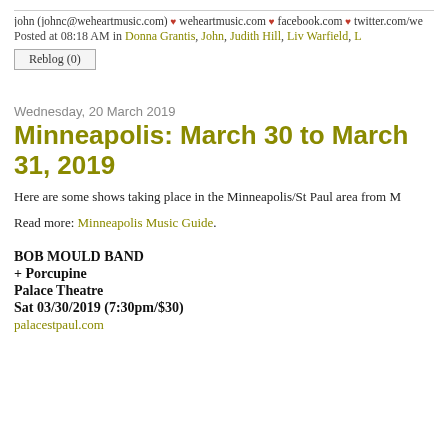john (johnc@weheartmusic.com) ♥ weheartmusic.com ♥ facebook.com ♥ twitter.com/we
Posted at 08:18 AM in Donna Grantis, John, Judith Hill, Liv Warfield, L
Reblog (0)
Wednesday, 20 March 2019
Minneapolis: March 30 to March 31, 2019
Here are some shows taking place in the Minneapolis/St Paul area from M
Read more: Minneapolis Music Guide.
BOB MOULD BAND
+ Porcupine
Palace Theatre
Sat 03/30/2019 (7:30pm/$30)
palacestpaul.com